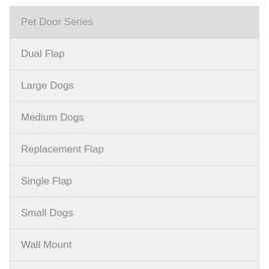Pet Door Series
Dual Flap
Large Dogs
Medium Dogs
Replacement Flap
Single Flap
Small Dogs
Wall Mount
XL Dogs
Recent Posts